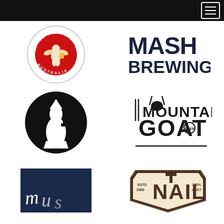[Figure (logo): Navigation bar with hamburger menu icon on dark/black background]
[Figure (logo): Little Creatures Brewing Australia circular logo with cherub holding beer mug, red and white]
[Figure (logo): MASH BREWING bold dark navy block letter logo]
[Figure (logo): Black circle with white silhouette of a monk/friar figure holding a cup]
[Figure (logo): Mountain Goat Beer logo with stylized goat head and antlers in dark ink]
[Figure (logo): Partial dark navy background with cursive white script text (brewery logo, partially visible)]
[Figure (logo): Nail Brewing logo - ESTD 2000, NAIL in large letters, 100% AUST, in brown/dark badge style]